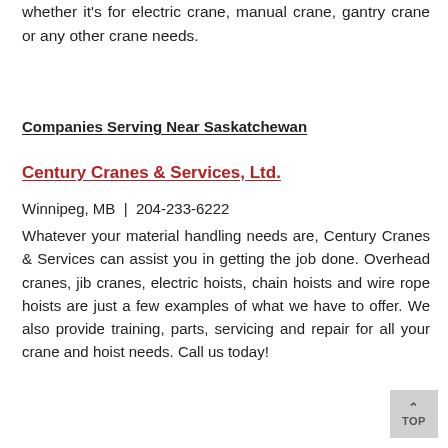whether it's for electric crane, manual crane, gantry crane or any other crane needs.
Companies Serving Near Saskatchewan
Century Cranes & Services, Ltd.
Winnipeg, MB  |  204-233-6222
Whatever your material handling needs are, Century Cranes & Services can assist you in getting the job done. Overhead cranes, jib cranes, electric hoists, chain hoists and wire rope hoists are just a few examples of what we have to offer. We also provide training, parts, servicing and repair for all your crane and hoist needs. Call us today!